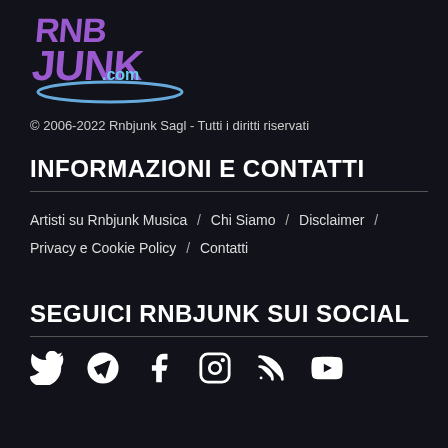[Figure (logo): RnbJunk.com logo with purple stylized text and blue swoosh]
© 2006-2022 Rnbjunk Sagl - Tutti i diritti riservati
INFORMAZIONI E CONTATTI
Artisti su Rnbjunk Musica / Chi Siamo / Disclaimer / Privacy e Cookie Policy / Contatti
SEGUICI RNBJUNK SUI SOCIAL
[Figure (infographic): Social media icons: Twitter, Telegram, Facebook, Instagram, RSS, YouTube]